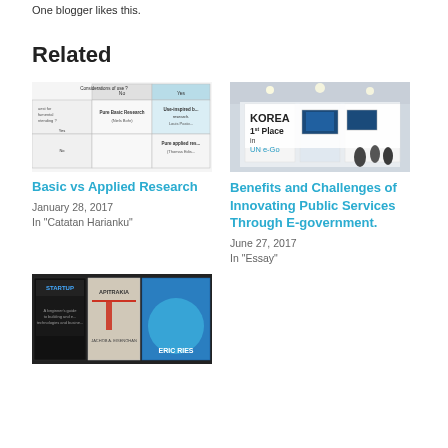One blogger likes this.
Related
[Figure (table-as-image): Table showing 'Considerations of use?' matrix with Pure Basic Research (Bohr), Use-inspired basic research (Louis Pasteur), Pure applied research (Thomas Edison)]
Basic vs Applied Research
January 28, 2017
In "Catatan Harianku"
[Figure (photo): Photo of Korea 1st Place in UN e-Government exhibition booth with screens and attendees]
Benefits and Challenges of Innovating Public Services Through E-government.
June 27, 2017
In "Essay"
[Figure (photo): Book covers including Startup and other books by Eric Ries]